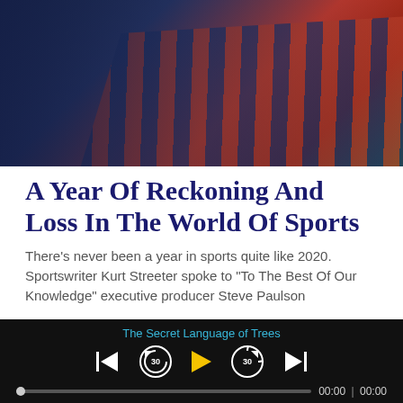[Figure (photo): Stadium seats photo showing rows of red and blue stadium seats with a green field visible in the background, BRONCO text partially visible]
A Year Of Reckoning And Loss In The World Of Sports
There's never been a year in sports quite like 2020. Sportswriter Kurt Streeter spoke to "To The Best Of Our Knowledge" executive producer Steve Paulson
The Secret Language of Trees
[Figure (screenshot): Audio player controls showing skip back, rewind 30s, play button, forward 30s, skip forward buttons, with progress bar showing 00:00 | 00:00]